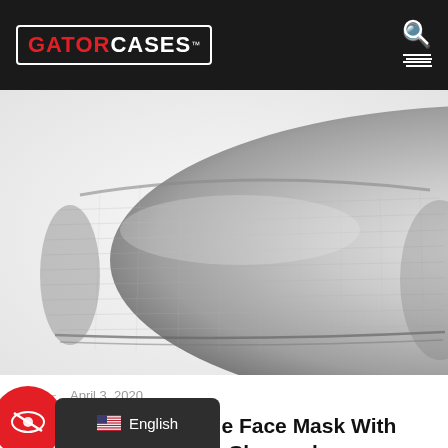[Figure (logo): Gator Cases logo in white border box on black header background]
[Figure (photo): Close-up photo of a gray/charcoal fabric face mask on white background]
April 3, 2020
MSK-CHA – Reusable Face Mask With Replaceable Filter in Charcoal